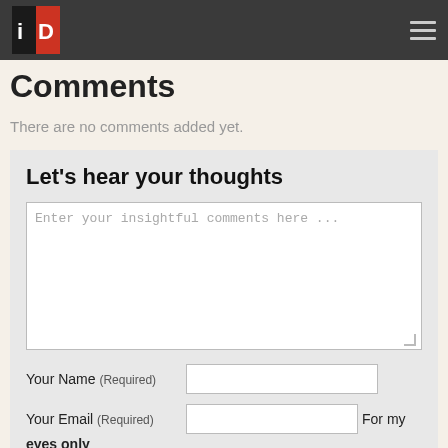iD logo and navigation menu
Comments
There are no comments added yet.
Let's hear your thoughts
Enter your insightful comments here ...
Your Name (Required)
Your Email (Required) For my eyes only
Your Website